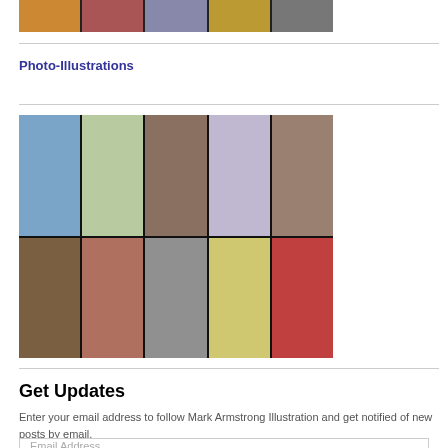[Figure (illustration): A horizontal strip of comic/illustration thumbnails across the top of the page]
Photo-Illustrations
[Figure (illustration): A 5x2 grid of photo-illustration thumbnails showing various mixed-media and photographic illustrations]
Get Updates
Enter your email address to follow Mark Armstrong Illustration and get notified of new posts by email.
Email Address